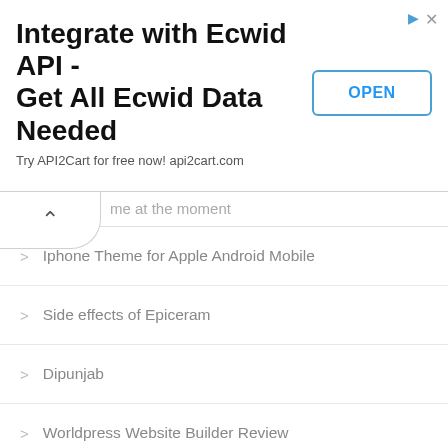[Figure (screenshot): Advertisement banner for API2Cart: 'Integrate with Ecwid API - Get All Ecwid Data Needed' with OPEN button]
...me at the moment
Iphone Theme for Apple Android Mobile
Side effects of Epiceram
Dipunjab
Worldpress Website Builder Review
Create your own theme
Plan of sale Template Word
Updating Wordpress Plugins
website design software
What's the world press?
Forest Woocommerce
Well-known Wordpress themes